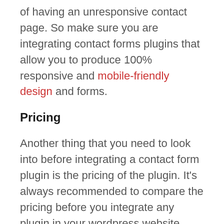of having an unresponsive contact page. So make sure you are integrating contact forms plugins that allow you to produce 100% responsive and mobile-friendly design and forms.
Pricing
Another thing that you need to look into before integrating a contact form plugin is the pricing of the plugin. It's always recommended to compare the pricing before you integrate any plugin in your wordpress website. There are a lot of free as well as paid plugins available in the market so before you try out any plugin you can identify whether it's worth spending money on it or